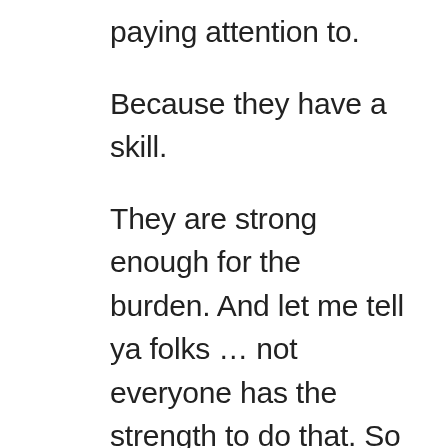paying attention to.
Because they have a skill.
They are strong enough for the burden. And let me tell ya folks … not everyone has the strength to do that. So when we chastise or joke about those people <simply because the idea maybe even be a little nutty rather than 'not so good'> we shouldn't. We should be seeking opportunities to utilize those people's strengths. In other words, transition them from snake oil salesmen to idea narrators.